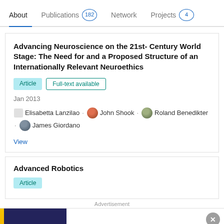About  Publications 182  Network  Projects 4
Advancing Neuroscience on the 21st- Century World Stage: The Need for and a Proposed Structure of an Internationally Relevant Neuroethics
Article  Full-text available
Jan 2013
Elisabetta Lanzilao · John Shook · Roland Benedikter · James Giordano
View
Advanced Robotics
Article
[Figure (other): Advertisement banner for ThermoFisher Scientific with text: Cloning solutions made for advancement]